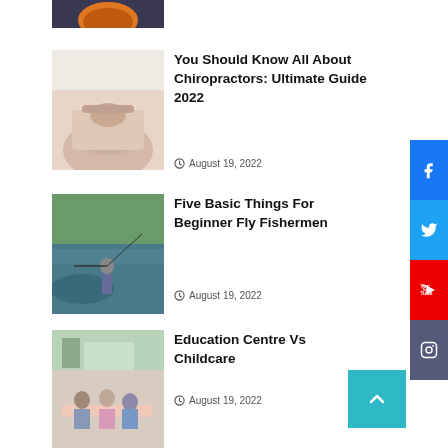[Figure (photo): Partial top image cut off at top of page, shows dark background with orange/food item]
[Figure (photo): Person lying face down receiving chiropractic massage treatment]
You Should Know All About Chiropractors: Ultimate Guide 2022
August 19, 2022
[Figure (photo): Elderly man fly fishing in a river surrounded by green trees]
Five Basic Things For Beginner Fly Fishermen
August 19, 2022
[Figure (photo): Children sitting at a table in a classroom/childcare setting doing crafts]
Education Centre Vs Childcare
August 19, 2022